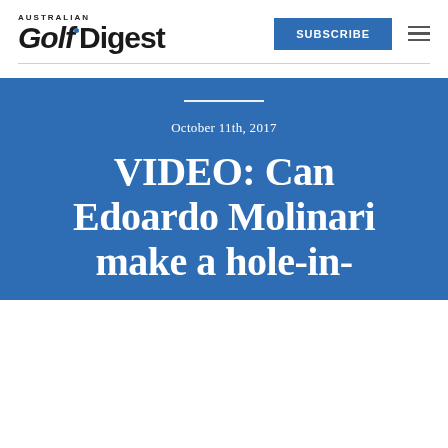Australian Golf Digest
SUBSCRIBE
October 11th, 2017

VIDEO: Can Edoardo Molinari make a hole-in-